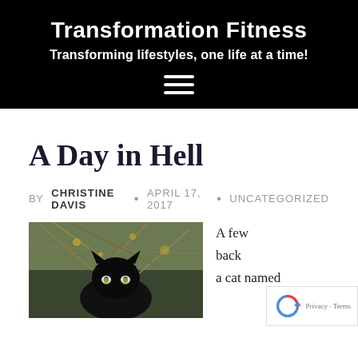Transformation Fitness
Transforming lifestyles, one life at a time!
A Day in Hell
BY CHRISTINE DAVIS • APRIL 17, 2017 • UNCATEGORIZED
[Figure (photo): Black cat looking at camera against a background of dry branches and foliage]
A few back a cat named